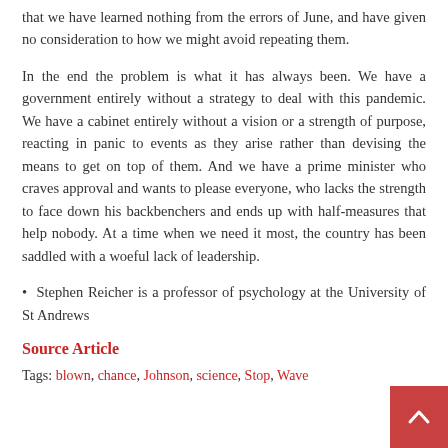that we have learned nothing from the errors of June, and have given no consideration to how we might avoid repeating them.
In the end the problem is what it has always been. We have a government entirely without a strategy to deal with this pandemic. We have a cabinet entirely without a vision or a strength of purpose, reacting in panic to events as they arise rather than devising the means to get on top of them. And we have a prime minister who craves approval and wants to please everyone, who lacks the strength to face down his backbenchers and ends up with half-measures that help nobody. At a time when we need it most, the country has been saddled with a woeful lack of leadership.
• Stephen Reicher is a professor of psychology at the University of St Andrews
Source Article
Tags: blown, chance, Johnson, science, Stop, Wave